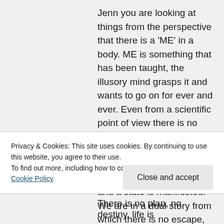Jenn you are looking at things from the perspective that there is a 'ME' in a body. ME is something that has been taught, the illusory mind grasps it and wants to go on for ever and ever. Even from a scientific point of view there is no matter, only energy that vibrates, no reality only potential states until the wave function collapses and a state is manifested. We are in a dual story from which there is no escape, the 'mind
Privacy & Cookies: This site uses cookies. By continuing to use this website, you agree to their use.
To find out more, including how to control cookies, see here: Cookie Policy
Close and accept
There is no plan, no destiny, life is